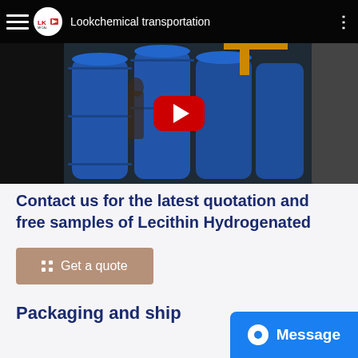[Figure (screenshot): YouTube video thumbnail showing chemical barrels being loaded, titled 'Lookchemical transportation']
Contact us for the latest quotation and free samples of Lecithin Hydrogenated
Get a quote
Packaging and ship